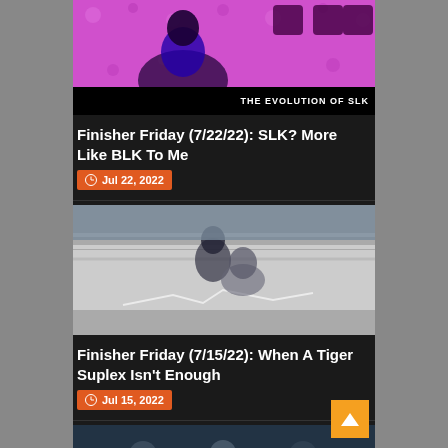[Figure (photo): Thumbnail image for SLK article - masked female wrestler in pink/purple outfit against pink background with text 'THE EVOLUTION OF SLK']
Finisher Friday (7/22/22): SLK? More Like BLK To Me
Jul 22, 2022
[Figure (photo): Thumbnail image for Tiger Suplex article - wrestlers in a wrestling ring, blurry action shot]
Finisher Friday (7/15/22): When A Tiger Suplex Isn't Enough
Jul 15, 2022
[Figure (photo): Partial thumbnail of a third article - dark image showing crowd/audience]